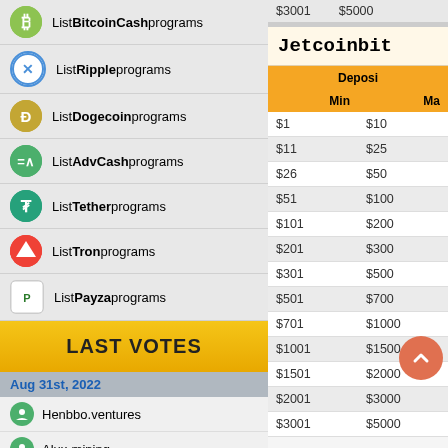List BitcoinCash programs
List Ripple programs
List Dogecoin programs
List AdvCash programs
List Tether programs
List Tron programs
List Payza programs
LAST VOTES
Aug 31st, 2022
Henbbo.ventures
Alux-mining
Trust Staking
Bitsultan
Dividend Growth
Profit Share Money Ltd
Zoomex
Cryptomines
Jetcoinbit
| Deposi... | Min | Ma... |
| --- | --- | --- |
| $3001 | $5000 |
| $1 | $10 |
| $11 | $25 |
| $26 | $50 |
| $51 | $100 |
| $101 | $200 |
| $201 | $300 |
| $301 | $500 |
| $501 | $700 |
| $701 | $1000 |
| $1001 | $1500 |
| $1501 | $2000 |
| $2001 | $3000 |
| $3001 | $5000 |
Leave a message